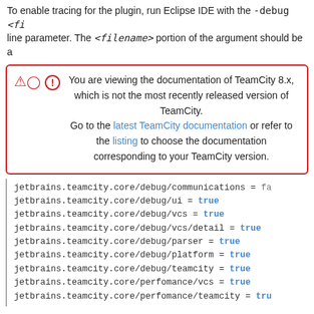To enable tracing for the plugin, run Eclipse IDE with the -debug <fi line parameter. The <filename> portion of the argument should be a
You are viewing the documentation of TeamCity 8.x, which is not the most recently released version of TeamCity. Go to the latest TeamCity documentation or refer to the listing to choose the documentation corresponding to your TeamCity version.
jetbrains.teamcity.core/debug/communications = fa
jetbrains.teamcity.core/debug/ui = true
jetbrains.teamcity.core/debug/vcs = true
jetbrains.teamcity.core/debug/vcs/detail = true
jetbrains.teamcity.core/debug/parser = true
jetbrains.teamcity.core/debug/platform = true
jetbrains.teamcity.core/debug/teamcity = true
jetbrains.teamcity.core/perfomance/vcs = true
jetbrains.teamcity.core/perfomance/teamcity = tru
Read more about Eclipse Debug mode Gathering Information About Y built-in Eclipse help.
Back to top